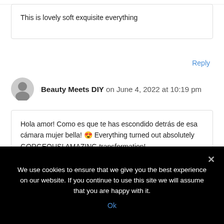This is lovely soft exquisite everything
Reply
Beauty Meets DIY on June 4, 2022 at 10:19 pm
Hola amor! Como es que te has escondido detrás de esa cámara mujer bella! 😍 Everything turned out absolutely GORGEOUS! AMAZING transformation!
I fell in love with it! Great job!
Besos! ~ Helen
We use cookies to ensure that we give you the best experience on our website. If you continue to use this site we will assume that you are happy with it.
Ok